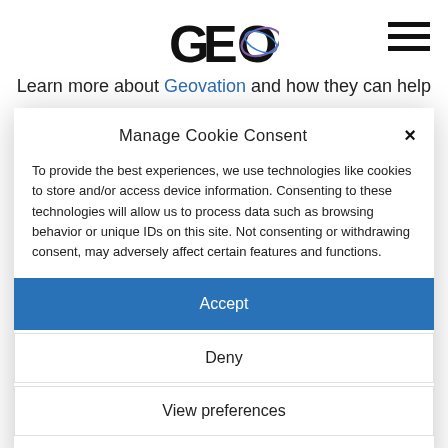[Figure (logo): GEO logo with circular orbit graphic in purple]
[Figure (other): Hamburger menu icon (three horizontal lines)]
Learn more about Geovation and how they can help
Manage Cookie Consent
To provide the best experiences, we use technologies like cookies to store and/or access device information. Consenting to these technologies will allow us to process data such as browsing behavior or unique IDs on this site. Not consenting or withdrawing consent, may adversely affect certain features and functions.
Accept
Deny
View preferences
Cookie Policy   GDPR